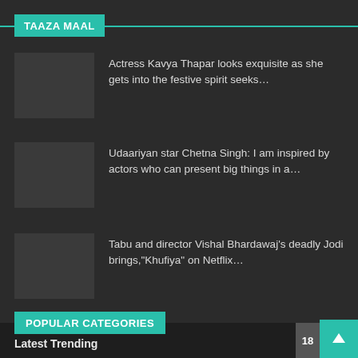TAAZA MAAL
Actress Kavya Thapar looks exquisite as she gets into the festive spirit seeks…
Udaariyan star Chetna Singh: I am inspired by actors who can present big things in a…
Tabu and director Vishal Bhardawaj's deadly Jodi brings,"Khufiya" on Netflix…
POPULAR CATEGORIES
Latest Trending
18